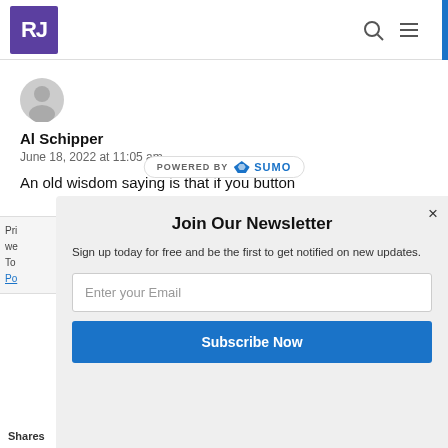[Figure (logo): RJ logo in purple square]
[Figure (illustration): User avatar circle (grey placeholder)]
Al Schipper
June 18, 2022 at 11:05 am
An old wisdom saying is that if you button
[Figure (screenshot): POWERED BY SUMO badge overlay]
Join Our Newsletter
Sign up today for free and be the first to get notified on new updates.
Enter your Email
Subscribe Now
Shares